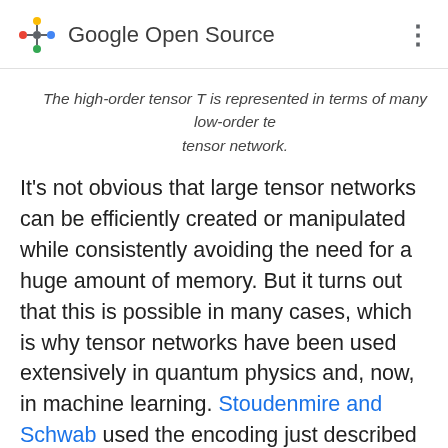Google Open Source
The high-order tensor T is represented in terms of many low-order tensors, forming a tensor network.
It's not obvious that large tensor networks can be efficiently created or manipulated while consistently avoiding the need for a huge amount of memory. But it turns out that this is possible in many cases, which is why tensor networks have been used extensively in quantum physics and, now, in machine learning. Stoudenmire and Schwab used the encoding just described to make an image classification model, demonstrating a new use for tensor networks. The TensorNetwork library is designed to facilitate exactly that kind of work, and our first paper describes how the library functions for general tensor networks...